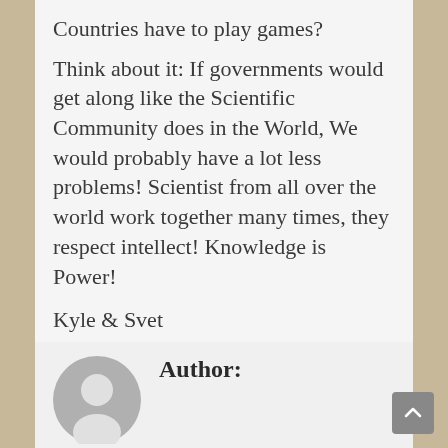Countries have to play games?
Think about it: If governments would get along like the Scientific Community does in the World, We would probably have a lot less problems! Scientist from all over the world work together many times, they respect intellect! Knowledge is Power!
Kyle & Svet
comments always welcome
Subscribe in a reader
Author: